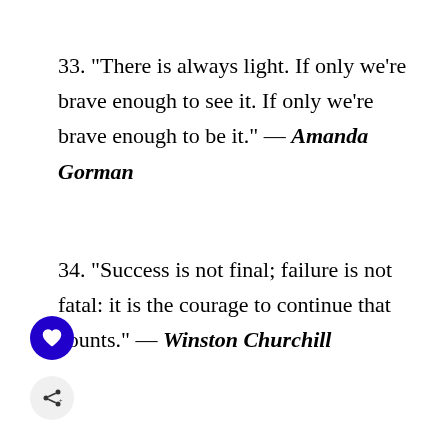33. “There is always light. If only we’re brave enough to see it. If only we’re brave enough to be it.” — Amanda Gorman
34. “Success is not final; failure is not fatal: it is the courage to continue that counts.” — Winston Churchill